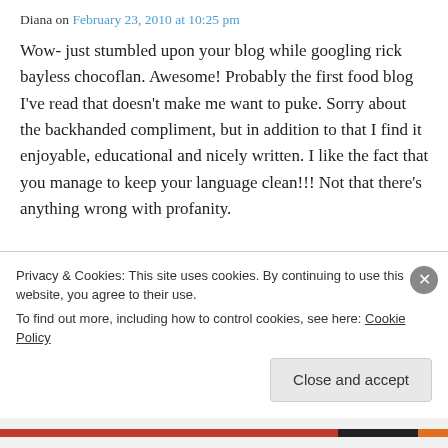Diana on February 23, 2010 at 10:25 pm
Wow- just stumbled upon your blog while googling rick bayless chocoflan. Awesome! Probably the first food blog I've read that doesn't make me want to puke. Sorry about the backhanded compliment, but in addition to that I find it enjoyable, educational and nicely written. I like the fact that you manage to keep your language clean!!! Not that there's anything wrong with profanity.
Privacy & Cookies: This site uses cookies. By continuing to use this website, you agree to their use.
To find out more, including how to control cookies, see here: Cookie Policy
Close and accept